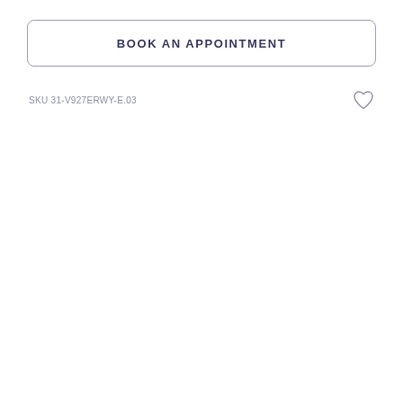BOOK AN APPOINTMENT
SKU 31-V927ERWY-E.03
[Figure (illustration): Heart/wishlist icon outline]